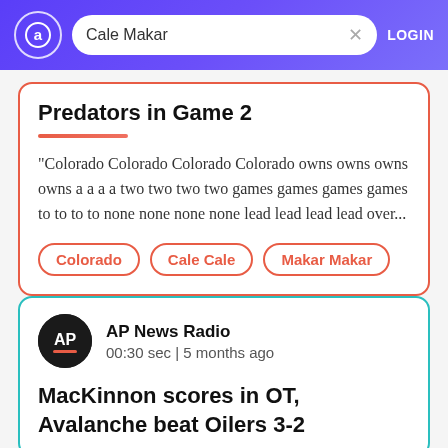Cale Makar | LOGIN
Predators in Game 2
"Colorado Colorado Colorado Colorado owns owns owns owns a a a a two two two two games games games games to to to to none none none none lead lead lead lead over...
Colorado
Cale Cale
Makar Makar
[Figure (logo): AP News Radio logo - black circle with AP text and red underline]
AP News Radio
00:30 sec | 5 months ago
MacKinnon scores in OT, Avalanche beat Oilers 3-2